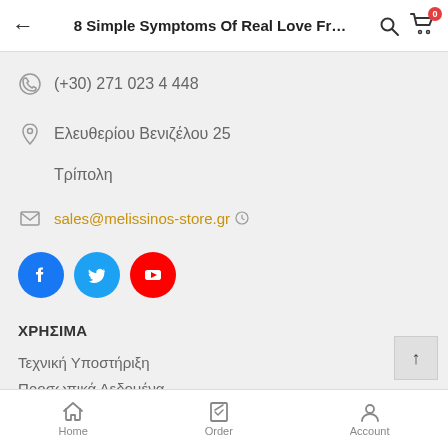8 Simple Symptoms Of Real Love Fr…
(+30) 271 023 4 448
Ελευθερίου Βενιζέλου 25
Τρίπολη
sales@melissinos-store.gr
[Figure (other): Social media icons: Facebook (blue circle), Twitter (blue circle), YouTube (red circle)]
ΧΡΗΣΙΜΑ
Τεχνική Υποστήριξη
Προσωπικά Δεδομένα
Home   Order   Account